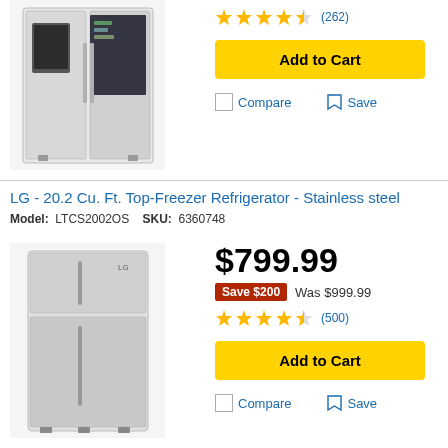[Figure (photo): Side-by-side refrigerator with InstaView door-in-door in stainless steel finish, shown from front]
[Figure (other): Five gold star rating icons]
(262)
Add to Cart
Compare
Save
LG - 20.2 Cu. Ft. Top-Freezer Refrigerator - Stainless steel
Model: LTCS2002OS  SKU: 6360748
[Figure (photo): LG top-freezer refrigerator in stainless steel finish, shown from front]
$799.99
Save $200  Was $999.99
[Figure (other): 4.5 gold stars rating icons]
(500)
Add to Cart
Compare
Save